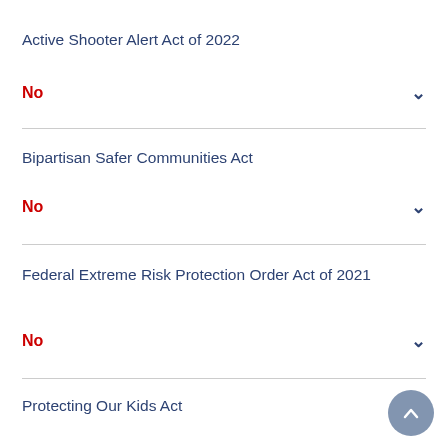Active Shooter Alert Act of 2022
No
Bipartisan Safer Communities Act
No
Federal Extreme Risk Protection Order Act of 2021
No
Protecting Our Kids Act